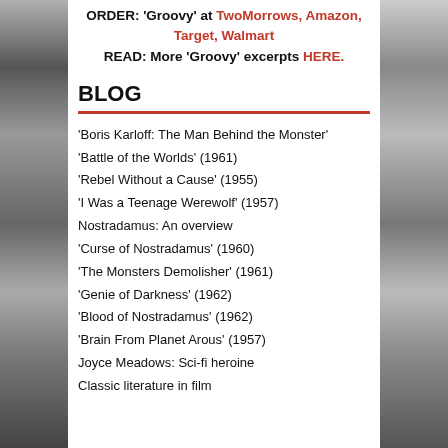ORDER: 'Groovy' at TwoMorrows, Amazon, Target, Walmart
READ: More 'Groovy' excerpts HERE.
BLOG
'Boris Karloff: The Man Behind the Monster'
'Battle of the Worlds' (1961)
'Rebel Without a Cause' (1955)
'I Was a Teenage Werewolf' (1957)
Nostradamus: An overview
'Curse of Nostradamus' (1960)
'The Monsters Demolisher' (1961)
'Genie of Darkness' (1962)
'Blood of Nostradamus' (1962)
'Brain From Planet Arous' (1957)
Joyce Meadows: Sci-fi heroine
Classic literature in film